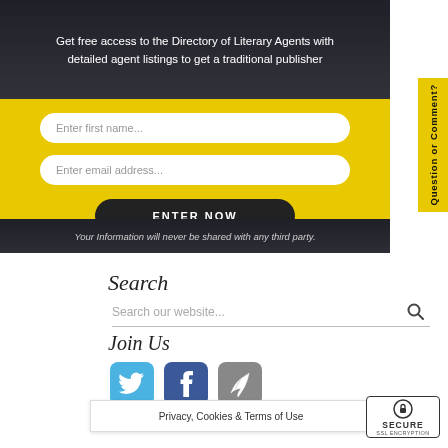Get free access to the Directory of Literary Agents with detailed agent listings to get a traditional publisher
Enter first name...
Enter email address...
ENTER NOW
Your Information will never be shared with any third party.
Question or Comment?
Search
Search our website...
Join Us
87680
11
Privacy, Cookies & Terms of Use
SECURE SSL ENCRYPTION